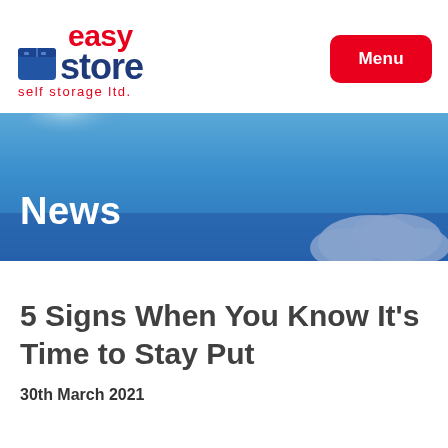[Figure (logo): Easy Store self storage ltd. logo — 'easy' in red bold, 'store' in dark blue bold with a blue box icon, 'self storage ltd.' in red smaller text below]
[Figure (other): Red rounded rectangle button with white text 'Menu']
[Figure (photo): Blue sky with white clouds banner image with large white bold text 'News' overlaid on lower left]
5 Signs When You Know It's Time to Stay Put
30th March 2021